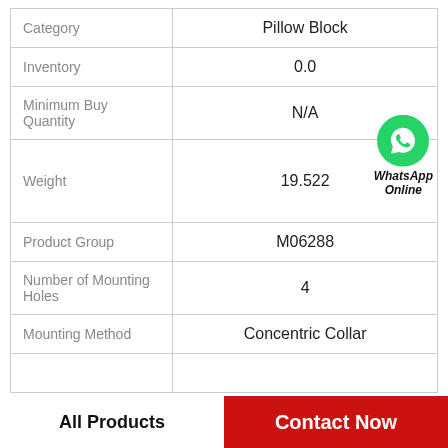| Field | Value |
| --- | --- |
| Category | Pillow Block |
| Inventory | 0.0 |
| Minimum Buy Quantity | N/A |
| Weight | 19.522 |
| Product Group | M06288 |
| Number of Mounting Holes | 4 |
| Mounting Method | Concentric Collar |
WhatsApp Online
All Products | Contact Now